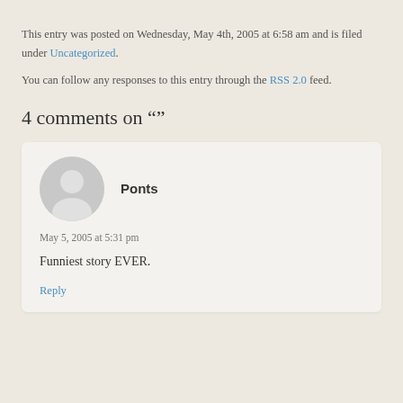This entry was posted on Wednesday, May 4th, 2005 at 6:58 am and is filed under Uncategorized.
You can follow any responses to this entry through the RSS 2.0 feed.
4 comments on “”
Ponts
May 5, 2005 at 5:31 pm
Funniest story EVER.
Reply